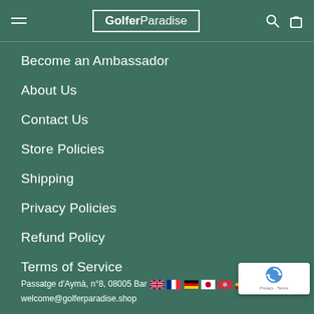GolferParadise
Become an Ambassador
About Us
Contact Us
Store Policies
Shipping
Privacy Policies
Refund Policy
Terms of Service
Passatge d'Aymà, n°8, 08005 Barcelona
welcome@golferparadise.shop